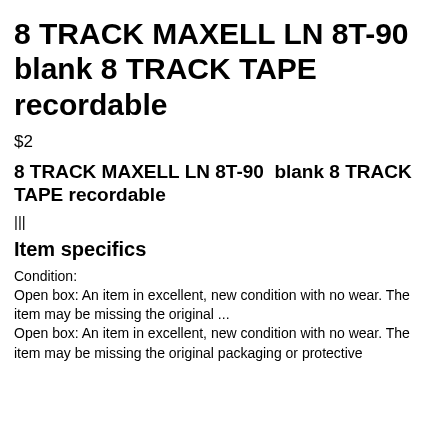8 TRACK MAXELL LN 8T-90 blank 8 TRACK TAPE recordable
$2
8 TRACK MAXELL LN 8T-90  blank 8 TRACK TAPE recordable
|||
Item specifics
Condition:
Open box: An item in excellent, new condition with no wear. The item may be missing the original ...
Open box: An item in excellent, new condition with no wear. The item may be missing the original packaging or protective